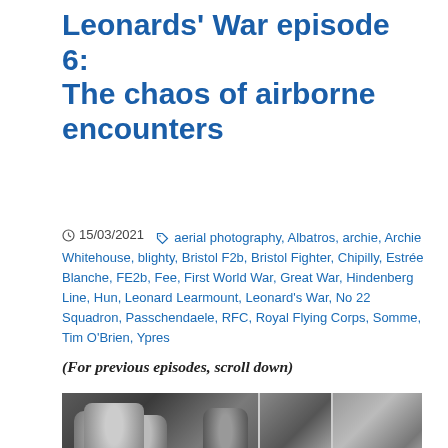Leonards' War episode 6: The chaos of airborne encounters
15/03/2021   aerial photography, Albatros, archie, Archie Whitehouse, blighty, Bristol F2b, Bristol Fighter, Chipilly, Estrée Blanche, FE2b, Fee, First World War, Great War, Hindenberg Line, Hun, Leonard Learmount, Leonard's War, No 22 Squadron, Passchendaele, RFC, Royal Flying Corps, Somme, Tim O'Brien, Ypres
(For previous episodes, scroll down)
[Figure (photo): Black and white photograph showing WWI airmen/soldiers, appears to be a composite of three panels]